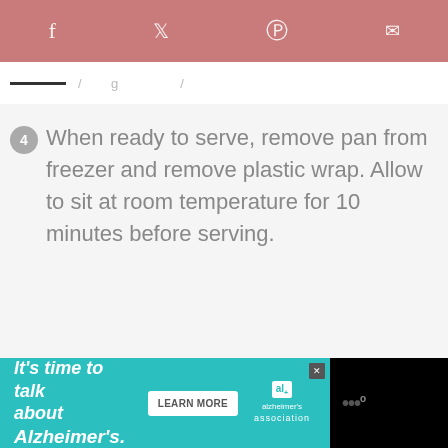Social share icons: Facebook, Twitter, Pinterest, Email
4 When ready to serve, remove pan from freezer and remove plastic wrap. Allow to sit at room temperature for 10 minutes before serving.
[Figure (infographic): Advertisement banner: It's time to talk about Alzheimer's. Learn More button. Alzheimer's Association logo.]